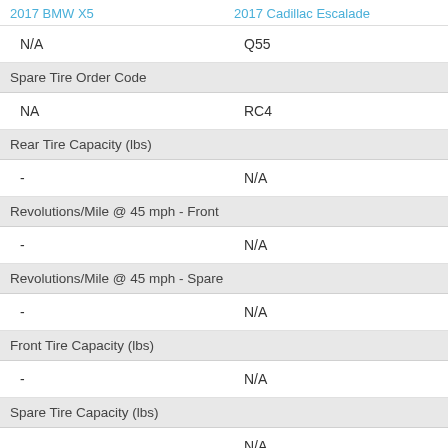2017 BMW X5    2017 Cadillac Escalade
| 2017 BMW X5 | 2017 Cadillac Escalade |
| --- | --- |
| N/A | Q55 |
| Spare Tire Order Code |  |
| NA | RC4 |
| Rear Tire Capacity (lbs) |  |
| - | N/A |
| Revolutions/Mile @ 45 mph - Front |  |
| - | N/A |
| Revolutions/Mile @ 45 mph - Spare |  |
| - | N/A |
| Front Tire Capacity (lbs) |  |
| - | N/A |
| Spare Tire Capacity (lbs) |  |
| - | N/A |